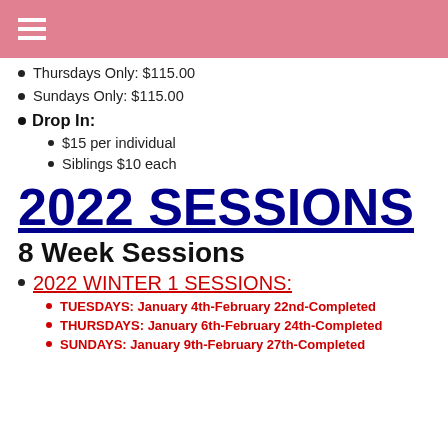Navigation menu
Thursdays Only: $115.00
Sundays Only: $115.00
Drop In:
$15 per individual
Siblings $10 each
2022 SESSIONS
8 Week Sessions
2022 WINTER 1 SESSIONS:
TUESDAYS: January 4th-February 22nd-Completed
THURSDAYS: January 6th-February 24th-Completed
SUNDAYS: January 9th-February 27th-Completed